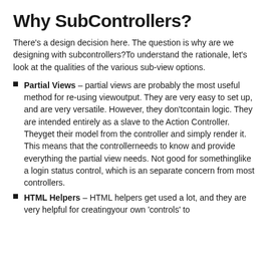Why SubControllers?
There's a design decision here. The question is why are we designing with subcontrollers?To understand the rationale, let's look at the qualities of the various sub-view options.
Partial Views – partial views are probably the most useful method for re-using viewoutput. They are very easy to set up, and are very versatile. However, they don'tcontain logic. They are intended entirely as a slave to the Action Controller. Theyget their model from the controller and simply render it. This means that the controllerneeds to know and provide everything the partial view needs. Not good for somethinglike a login status control, which is an separate concern from most controllers.
HTML Helpers – HTML helpers get used a lot, and they are very helpful for creatingyour own 'controls' to